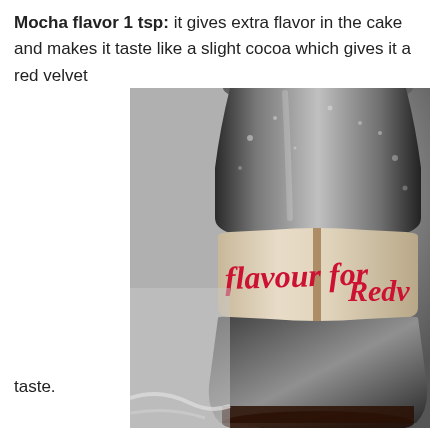Mocha flavor 1 tsp: it gives extra flavor in the cake and makes it taste like a slight cocoa which gives it a red velvet taste.
[Figure (photo): Close-up photo of a clear/dark glass or plastic bottle with a worn paper label. The label text in red cursive script reads 'flavour for Redv...' (partially visible). The bottle appears to contain a dark liquid and has condensation or moisture on the surface.]